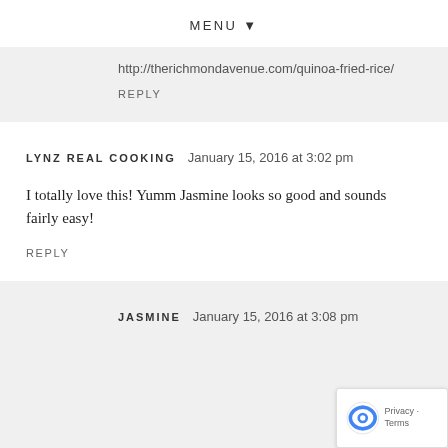MENU ▼
http://therichmondavenue.com/quinoa-fried-rice/
REPLY
LYNZ REAL COOKING  January 15, 2016 at 3:02 pm
I totally love this! Yumm Jasmine looks so good and sounds fairly easy!
REPLY
JASMINE  January 15, 2016 at 3:08 pm